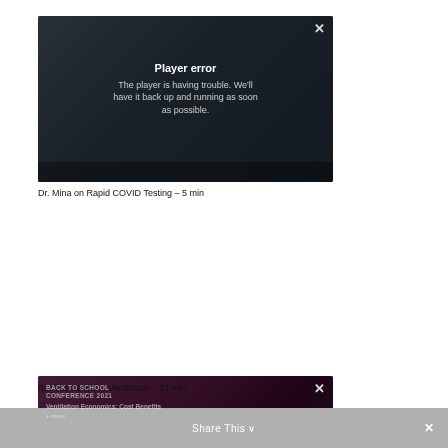[Figure (screenshot): Video player showing error overlay: 'Player error — The player is having trouble. We'll have it back up and running as soon as possible.' with X close button, on dark background with partially visible man in foreground.]
Dr. Mina on Rapid COVID Testing – 5 min
[Figure (screenshot): Video player showing error overlay: 'Player error — The player is having trouble. We'll have it back up and running as soon as possible.' overlaid on 'BACK TO SCHOOL CONFERENCE 2021 / Ventilation Economics: Cost Benefits' with X close button, purple/maroon gradient background.]
Back to School – Ventilation – 21 min
[Figure (screenshot): Partial view of a third video player at the bottom of the page, with a Share This bar overlay at the very bottom.]